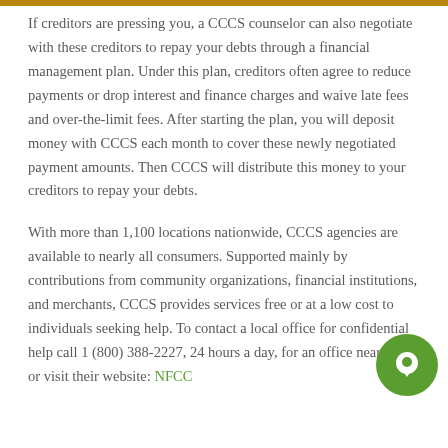If creditors are pressing you, a CCCS counselor can also negotiate with these creditors to repay your debts through a financial management plan. Under this plan, creditors often agree to reduce payments or drop interest and finance charges and waive late fees and over-the-limit fees. After starting the plan, you will deposit money with CCCS each month to cover these newly negotiated payment amounts. Then CCCS will distribute this money to your creditors to repay your debts.
With more than 1,100 locations nationwide, CCCS agencies are available to nearly all consumers. Supported mainly by contributions from community organizations, financial institutions, and merchants, CCCS provides services free or at a low cost to individuals seeking help. To contact a local office for confidential help call 1 (800) 388-2227, 24 hours a day, for an office near you or visit their website: NFCC